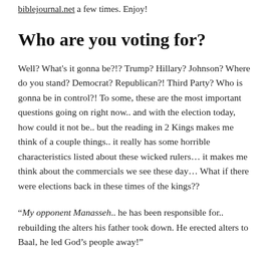biblejournal.net a few times. Enjoy!
Who are you voting for?
Well? What's it gonna be?!? Trump? Hillary? Johnson? Where do you stand? Democrat? Republican?! Third Party? Who is gonna be in control?! To some, these are the most important questions going on right now.. and with the election today, how could it not be.. but the reading in 2 Kings makes me think of a couple things.. it really has some horrible characteristics listed about these wicked rulers… it makes me think about the commercials we see these day… What if there were elections back in these times of the kings??
“My opponent Manasseh.. he has been responsible for.. rebuilding the alters his father took down. He erected alters to Baal, he led God’s people away!”